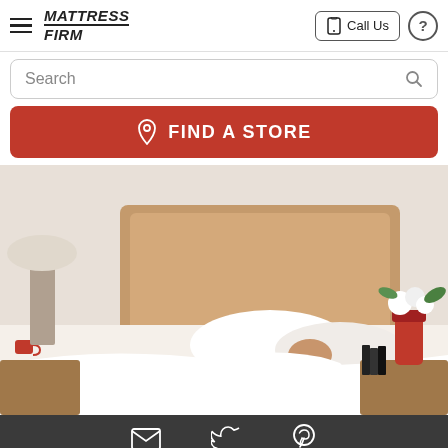[Figure (screenshot): Mattress Firm mobile website screenshot showing navigation header with hamburger menu, Mattress Firm logo, Call Us button and help icon; search bar; red Find a Store button; hero image of person sleeping in bed; social media footer with email, Twitter, and Pinterest icons]
MATTRESS FIRM — Call Us — ?
Search
FIND A STORE
Email | Twitter | Pinterest